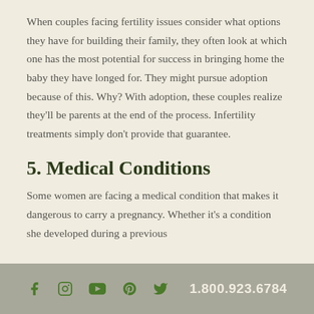When couples facing fertility issues consider what options they have for building their family, they often look at which one has the most potential for success in bringing home the baby they have longed for. They might pursue adoption because of this. Why? With adoption, these couples realize they'll be parents at the end of the process. Infertility treatments simply don't provide that guarantee.
5. Medical Conditions
Some women are facing a medical condition that makes it dangerous to carry a pregnancy. Whether it's a condition she developed during a previous
f  [instagram]  [youtube]  p  [twitter]  1.800.923.6784